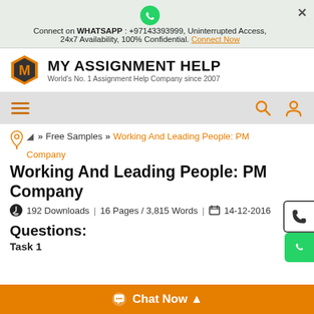Connect on WHATSAPP : +97143393999, Uninterrupted Access, 24x7 Availability, 100% Confidential. Connect Now
[Figure (logo): My Assignment Help logo with orange hexagonal M icon and text MY ASSIGNMENT HELP, World's No. 1 Assignment Help Company since 2007]
[Figure (screenshot): Navigation bar with hamburger menu, search icon, and user icon]
Free Samples >> Working And Leading People: PM Company
Working And Leading People: PM Company
192 Downloads | 16 Pages / 3,815 Words | 14-12-2016
Questions:
Task 1